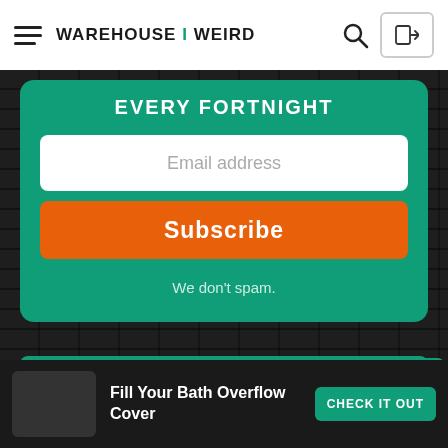WAREHOUSE I WEIRD
EVERY FORTNIGHT
Email address
Subscribe
We don't spam.
MORE STUFF
Fill Your Bath Overflow Cover
CHECK IT OUT